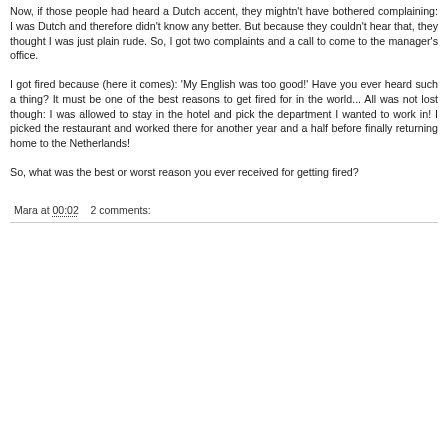Now, if those people had heard a Dutch accent, they mightn't have bothered complaining: I was Dutch and therefore didn't know any better. But because they couldn't hear that, they thought I was just plain rude. So, I got two complaints and a call to come to the manager's office.
I got fired because (here it comes): 'My English was too good!' Have you ever heard such a thing? It must be one of the best reasons to get fired for in the world... All was not lost though: I was allowed to stay in the hotel and pick the department I wanted to work in! I picked the restaurant and worked there for another year and a half before finally returning home to the Netherlands!
So, what was the best or worst reason you ever received for getting fired?
Mara at 00:02    2 comments: